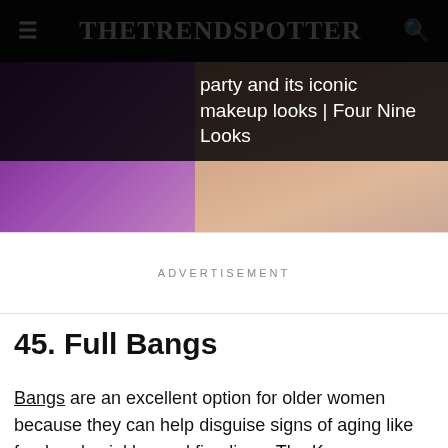TheTrendSpotter
party and its iconic makeup looks | Four Nine Looks
[Figure (photo): Partial view of a person's shoulder area with purple satin fabric on the left and skin-toned area on the right, cropped by navigation overlay]
ADVERTISEMENT
45. Full Bangs
Bangs are an excellent option for older women because they can help disguise signs of aging like forehead wrinkles and fine lines. The key is to keep it...